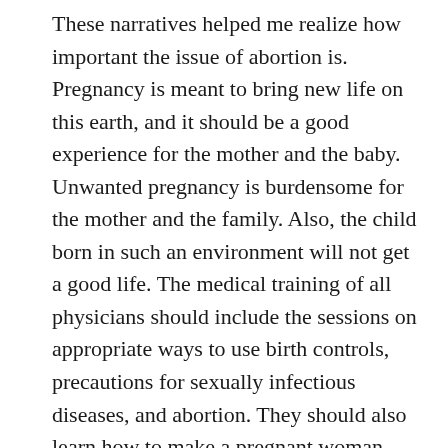These narratives helped me realize how important the issue of abortion is. Pregnancy is meant to bring new life on this earth, and it should be a good experience for the mother and the baby. Unwanted pregnancy is burdensome for the mother and the family. Also, the child born in such an environment will not get a good life. The medical training of all physicians should include the sessions on appropriate ways to use birth controls, precautions for sexually infectious diseases, and abortion. They should also learn how to make a pregnant woman comfortable so that she can understand completely and can take a proper decision without any hesitation. Therefore, as a society we should raise awareness on methods of birth control, appropriate age for motherhood and safe